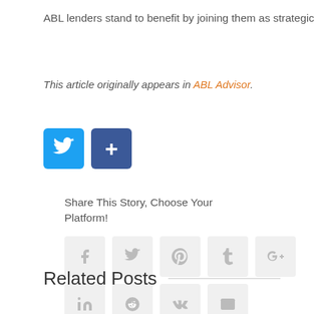ABL lenders stand to benefit by joining them as strategic partners.
This article originally appears in ABL Advisor.
[Figure (infographic): Two social share buttons: Twitter bird icon (blue) and a blue plus/share button]
Share This Story, Choose Your Platform!
[Figure (infographic): Grid of social media share icons: Facebook, Twitter, Pinterest, Tumblr, Google+, LinkedIn, Reddit, VK, Email - all in light grey rounded square boxes]
Related Posts